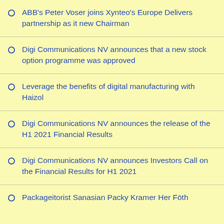ABB's Peter Voser joins Xynteo's Europe Delivers partnership as it new Chairman
Digi Communications NV announces that a new stock option programme was approved
Leverage the benefits of digital manufacturing with Haizol
Digi Communications NV announces the release of the H1 2021 Financial Results
Digi Communications NV announces Investors Call on the Financial Results for H1 2021
Packageitorist Sanasian Packy Kramer Her Föth